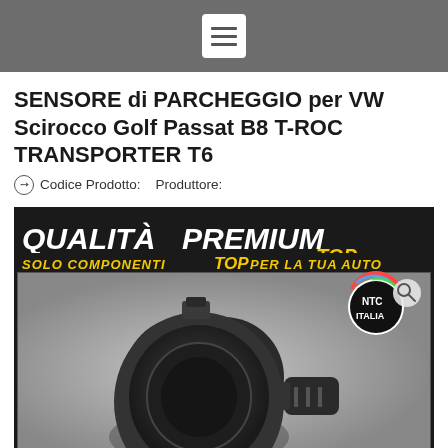SENSORE di PARCHEGGIO per VW Scirocco Golf Passat B8 T-ROC TRANSPORTER T6
Codice Prodotto: Produttore:
[Figure (photo): Product listing image showing a parking sensor (PDC sensor) for VW vehicles. Black background with 'QUALITÀ PREMIUM' text in white bold italic letters at top, yellow subtitle 'SOLO COMPONENTI TOP PER LA TUA AUTO'. Below is a large close-up photo of a black cylindrical parking sensor (ultrasonic sensor) with connector. NTC Italia branding badge visible in top-right of photo. Search icon in top-right corner.]